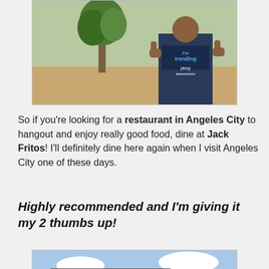[Figure (photo): Person wearing 'I'm Trending' and 'Pinoy Adventuristo' shirt giving thumbs up outdoors near a tree and plant pots]
So if you're looking for a restaurant in Angeles City to hangout and enjoy really good food, dine at Jack Fritos! I'll definitely dine here again when I visit Angeles City one of these days.
Highly recommended and I'm giving it my 2 thumbs up!
[Figure (photo): Exterior of Jack Fritos restaurant building with large yellow logo sign, thatched roof area, red umbrellas, and 'Natural Cook' sign visible]